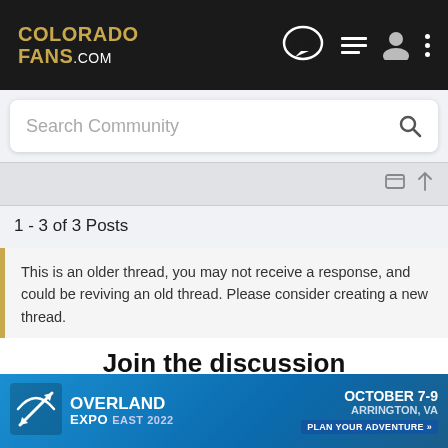COLORADO FANS .COM
Search Community
1 - 3 of 3 Posts
This is an older thread, you may not receive a response, and could be reviving an old thread. Please consider creating a new thread.
Join the discussion
Continue with Facebook
[Figure (screenshot): Advertisement banner for Overland Expo East 2022, October 7-9, Arrington, VA. Plan Your Adventure.]